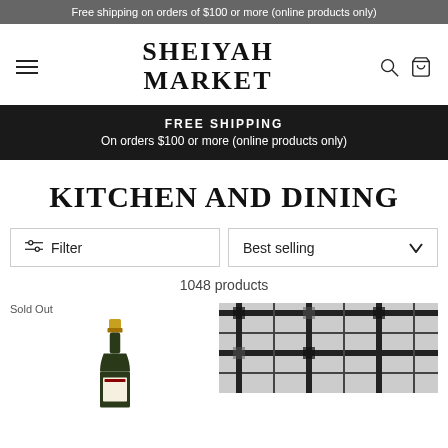Free shipping on orders of $100 or more (online products only)
SHEIYAH MARKET
FREE SHIPPING
On orders $100 or more (online products only)
KITCHEN AND DINING
Filter
Best selling
1048 products
Sold Out
[Figure (photo): Bottom portion of a wine bottle with gold cap]
[Figure (photo): Black and white plaid textile/fabric product]